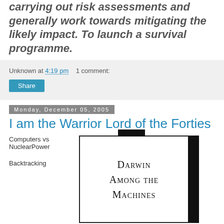carrying out risk assessments and generally work towards mitigating the likely impact. To launch a survival programme.
Unknown at 4:19 pm   1 comment:
Share
Monday, December 05, 2005
I am the Warrior Lord of the Forties
Computers vs NuclearPower
Backtracking
[Figure (photo): Book cover of 'Darwin Among the Machines' shown at an angle against a dark background]